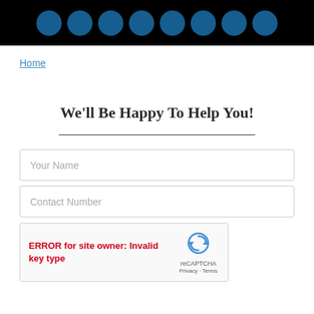[Figure (other): Black header bar with circular logo icons in blue]
Home
We'll Be Happy To Help You!
[Figure (other): Horizontal divider line]
Your Name
Contact Number
[Figure (other): reCAPTCHA widget showing error: ERROR for site owner: Invalid key type, with reCAPTCHA logo and Privacy - Terms links]